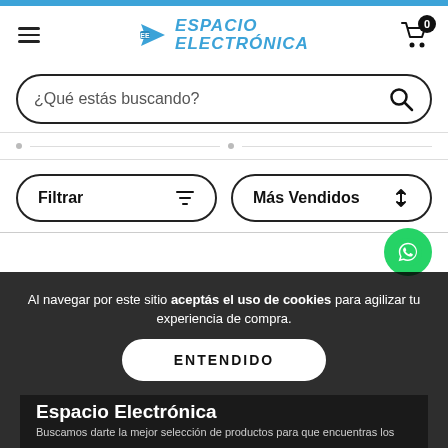Espacio Electrónica - header navigation with logo, hamburger menu, and cart icon showing 0 items
¿Qué estás buscando?
Filtrar
Más Vendidos
Al navegar por este sitio aceptás el uso de cookies para agilizar tu experiencia de compra.
Espacio Electrónica
Buscamos darte la mejor selección de productos para que encuentras los
ENTENDIDO